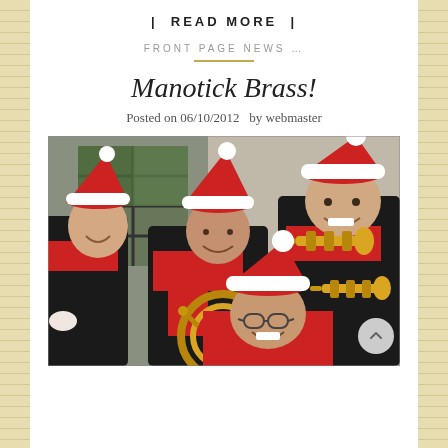| READ MORE |
FRONT PAGE NEWS ...
Manotick Brass!
Posted on 06/10/2012  by webmaster
[Figure (photo): Four brass musicians wearing Santa hats and red scarves, holding brass instruments including a French horn and trumpets, posed in front of a stained glass window. Holiday Christmas themed photo.]